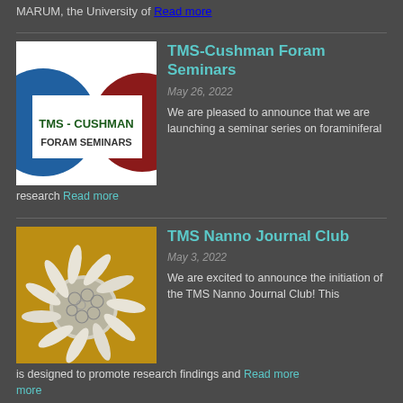MARUM, the University of Read more
[Figure (logo): TMS-Cushman Foram Seminars logo with blue circle on left and dark red circle on right]
TMS-Cushman Foram Seminars
May 26, 2022
We are pleased to announce that we are launching a seminar series on foraminiferal research Read more
[Figure (photo): Microscopic image of a nannofossil (coccosphere) showing intricate calcite plates, photographed under electron microscope on a sandy brown background]
TMS Nanno Journal Club
May 3, 2022
We are excited to announce the initiation of the TMS Nanno Journal Club! This is designed to promote research findings and Read more